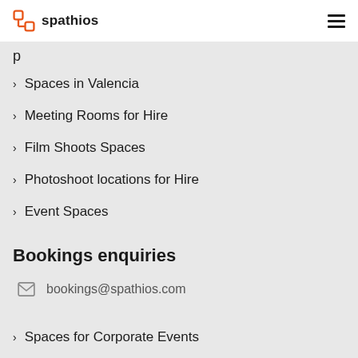spathios
Spaces in Valencia
Meeting Rooms for Hire
Film Shoots Spaces
Photoshoot locations for Hire
Event Spaces
Bookings enquiries
bookings@spathios.com
Spaces for Corporate Events